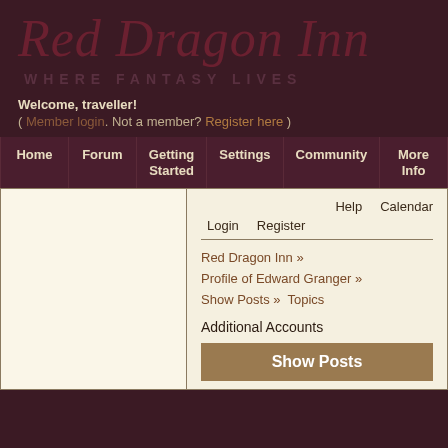Red Dragon Inn
WHERE FANTASY LIVES
Welcome, traveller!
( Member login. Not a member? Register here )
Home | Forum | Getting Started | Settings | Community | More Info
Help   Calendar
Login   Register
Red Dragon Inn » Profile of Edward Granger » Show Posts » Topics
Additional Accounts
Show Posts